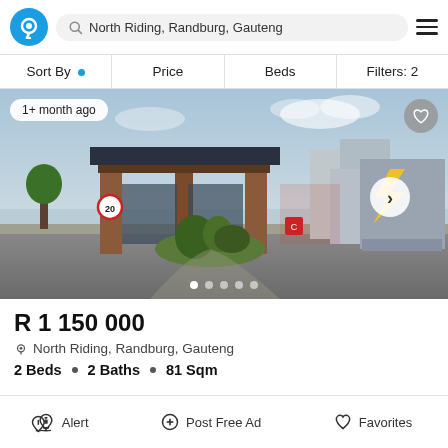North Riding, Randburg, Gauteng
Sort By · Price · Beds · Filters: 2
[Figure (photo): Property listing photo showing entrance gate of a residential complex in North Riding, Randburg, Gauteng with brick pillars, a yellow lightning bolt logo sign, and green landscaping]
R 1 150 000
North Riding, Randburg, Gauteng
2 Beds  •  2 Baths  •  81 Sqm
Alert   Post Free Ad   Favorites